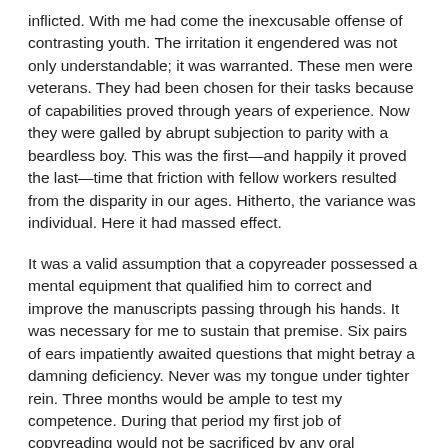inflicted. With me had come the inexcusable offense of contrasting youth. The irritation it engendered was not only understandable; it was warranted. These men were veterans. They had been chosen for their tasks because of capabilities proved through years of experience. Now they were galled by abrupt subjection to parity with a beardless boy. This was the first—and happily it proved the last—time that friction with fellow workers resulted from the disparity in our ages. Hitherto, the variance was individual. Here it had massed effect.
It was a valid assumption that a copyreader possessed a mental equipment that qualified him to correct and improve the manuscripts passing through his hands. It was necessary for me to sustain that premise. Six pairs of ears impatiently awaited questions that might betray a damning deficiency. Never was my tongue under tighter rein. Three months would be ample to test my competence. During that period my first job of copyreading would not be sacrificed by any oral misadventure. There was plenty of conversation between my colleagues away from the desk. But at work, or in my presence, a tense muteness prevailed. No word was